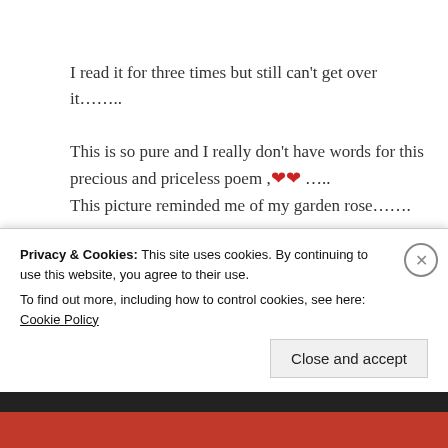I read it for three times but still can't get over it…….. This is so pure and I really don't have words for this precious and priceless poem ,❤❤ ….. This picture reminded me of my garden rose…….
★ Liked by 2 people
Log in to Reply
Privacy & Cookies: This site uses cookies. By continuing to use this website, you agree to their use. To find out more, including how to control cookies, see here: Cookie Policy
Close and accept